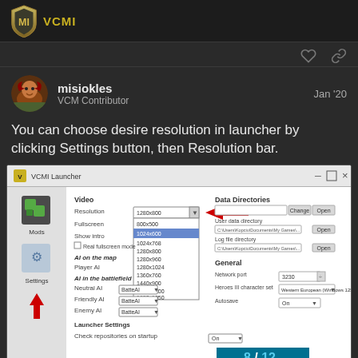VCMI (logo)
misiokles   VCM Contributor   Jan '20
You can choose desire resolution in launcher by clicking Settings button, then Resolution bar.
[Figure (screenshot): VCMI Launcher settings window showing Resolution dropdown with options: 800x500, 1024x600 (highlighted blue), 1024x768, 1280x800, 1280x960, 1280x1024, 1360x760, 1440x900, 1600x1200, 1680x1050, 1920x1080. A red arrow points to the Resolution bar. A red upward arrow points to the Settings icon on the left panel. Data Directories section shows User data directory and Log file directory. General section shows Network port 3230 and Heroes III character set Western European (Windows 1252). AI on the map: Player AI. AI in the battlefield: Neutral AI BatteAI, Friendly AI BatteAI, Enemy AI BatteAI. Launcher Settings: Check repositories on startup On. Bottom right shows page indicator 8/12.]